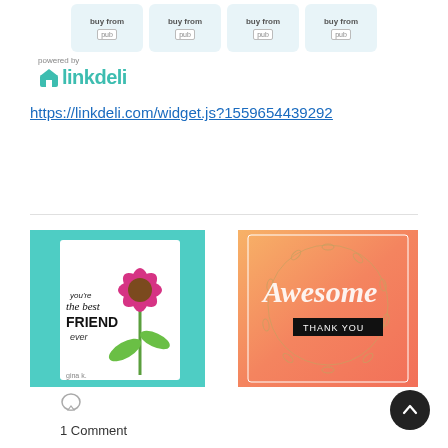[Figure (other): Four 'buy from' product cards in light blue rounded rectangles with publisher logos]
[Figure (logo): Powered by linkdeli logo with teal house icon and linkdeli text]
https://linkdeli.com/widget.js?1559654439292
[Figure (photo): Handmade greeting card with pink coneflower and text 'you're the best FRIEND ever' on teal background]
[Figure (photo): Handmade greeting card with 'Awesome THANK YOU' text on pink/orange gradient background with leaf wreath]
1 Comment